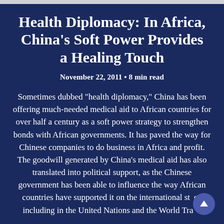Health Diplomacy: In Africa, China's Soft Power Provides a Healing Touch
November 22, 2011 • 8 min read
Sometimes dubbed "health diplomacy," China has been offering much-needed medical aid to African countries for over half a century as a soft power strategy to strengthen bonds with African governments. It has paved the way for Chinese companies to do business in Africa and profit. The goodwill generated by China's medical aid has also translated into political support, as the Chinese government has been able to influence the way African countries have supported it on the international stage, including in the United Nations and the World Trade Organization